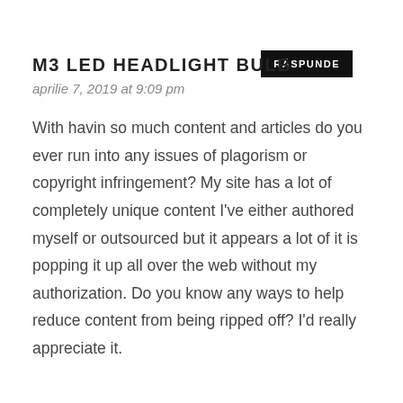M3 LED HEADLIGHT BULB
aprilie 7, 2019 at 9:09 pm
With havin so much content and articles do you ever run into any issues of plagorism or copyright infringement? My site has a lot of completely unique content I've either authored myself or outsourced but it appears a lot of it is popping it up all over the web without my authorization. Do you know any ways to help reduce content from being ripped off? I'd really appreciate it.
RĂSPUNDE